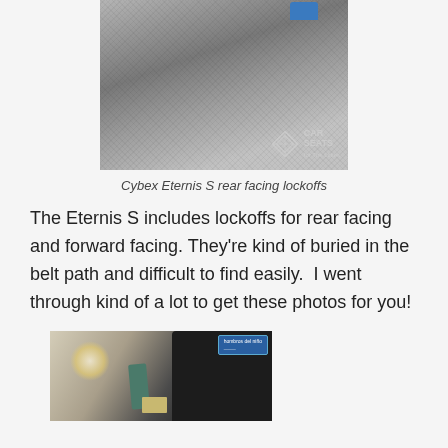[Figure (photo): Close-up photo of Cybex Eternis S rear facing lockoffs embedded in grey fabric belt path, with Car Seats for the Littles watermark in bottom right corner]
Cybex Eternis S rear facing lockoffs
The Eternis S includes lockoffs for rear facing and forward facing. They're kind of buried in the belt path and difficult to find easily.  I went through kind of a lot to get these photos for you!
[Figure (photo): Close-up photo of Cybex Eternis S forward facing lockoffs with a teal/blue label, metal hardware, and a green strap visible]